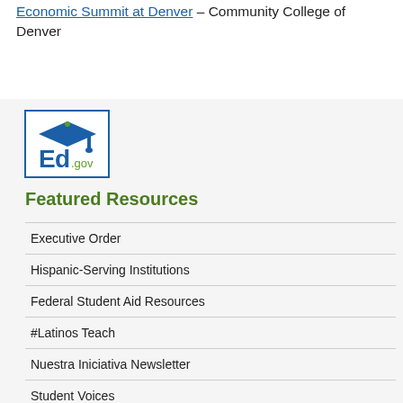Economic Summit at Denver – Community College of Denver
[Figure (logo): Ed.gov logo — graduation cap with 'Ed.gov' text inside a blue bordered box]
Featured Resources
Executive Order
Hispanic-Serving Institutions
Federal Student Aid Resources
#Latinos Teach
Nuestra Iniciativa Newsletter
Student Voices